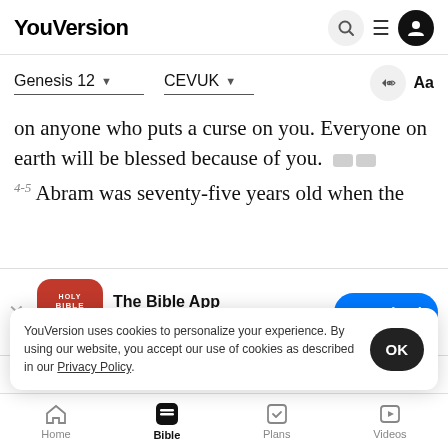YouVersion
Genesis 12 | CEVUK
on anyone who puts a curse on you. Everyone on earth will be blessed because of you.
4-5 Abram was seventy-five years old when the
[Figure (screenshot): App download banner: The Bible App icon (red with HOLY BIBLE text and book graphic), app name 'The Bible App', star rating ★★★★★ 7.9M, and blue Download button]
and left with his wife Sarai, his nephi...
and all
while in
YouVersion uses cookies to personalize your experience. By using our website, you accept our use of cookies as described in our Privacy Policy.
Home | Bible | Plans | Videos